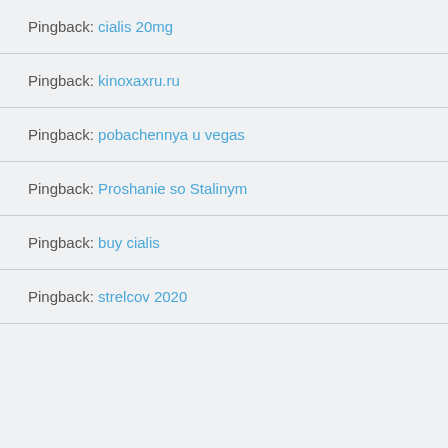Pingback: cialis 20mg
Pingback: kinoxaxru.ru
Pingback: pobachennya u vegas
Pingback: Proshanie so Stalinym
Pingback: buy cialis
Pingback: strelcov 2020